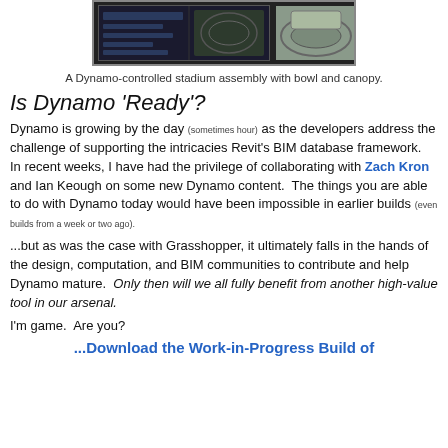[Figure (screenshot): A screenshot of a Dynamo interface with a dark panel on the left and a 3D stadium model with bowl and canopy on the right]
A Dynamo-controlled stadium assembly with bowl and canopy.
Is Dynamo 'Ready'?
Dynamo is growing by the day (sometimes hour) as the developers address the challenge of supporting the intricacies Revit's BIM database framework.  In recent weeks, I have had the privilege of collaborating with Zach Kron and Ian Keough on some new Dynamo content.  The things you are able to do with Dynamo today would have been impossible in earlier builds (even builds from a week or two ago).
...but as was the case with Grasshopper, it ultimately falls in the hands of the design, computation, and BIM communities to contribute and help Dynamo mature.  Only then will we all fully benefit from another high-value tool in our arsenal.
I'm game.  Are you?
...Download the Work-in-Progress Build of